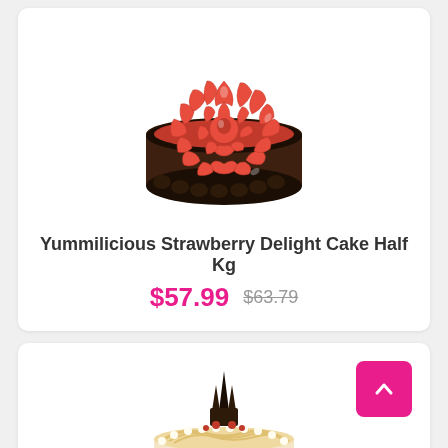[Figure (photo): Chocolate cake topped with sliced strawberries arranged in a circular pattern, with dark chocolate frosting on the sides]
Yummilicious Strawberry Delight Cake Half Kg
$57.99  $63.79
[Figure (photo): A round cake with swirled cream frosting and a dark chocolate decorative topper, with small red berries, partially visible]
[Figure (other): Pink button with white upward arrow for scroll to top]